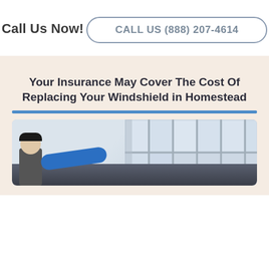Call Us Now!
CALL US (888) 207-4614
Your Insurance May Cover The Cost Of Replacing Your Windshield in Homestead
[Figure (photo): A technician in a blue shirt working on a car windshield in an auto shop with large windows in the background.]